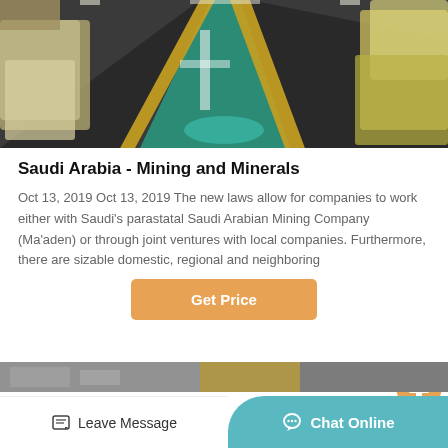[Figure (photo): Interior of a large industrial facility or warehouse with machines on both sides, a green lane painted on the floor, and yellow boundary lines.]
Saudi Arabia - Mining and Minerals
Oct 13, 2019 Oct 13, 2019 The new laws allow for companies to work either with Saudi’s parastatal Saudi Arabian Mining Company (Ma’aden) or through joint ventures with local companies. Furthermore, there are sizable domestic, regional and neighboring
[Figure (other): Get Price button - orange/amber colored rectangular button with white bold text]
[Figure (photo): Partial bottom strip image of industrial setting]
Leave Message   Chat Online